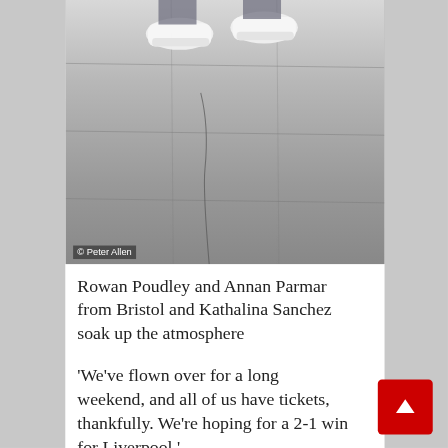[Figure (photo): Overhead/top-down photo of feet wearing white sneakers standing on grey stone pavement with cracks. Photo credit: Peter Allen.]
Rowan Poudley and Annan Parmar from Bristol and Kathalina Sanchez soak up the atmosphere
'We've flown over for a long weekend, and all of us have tickets, thankfully. We're hoping for a 2-1 win for Liverpool.'
Liverpudlians Ben Hines, 23, Ben Lee, 22 and Chris McCarthy, 20, had flown into Paris from their home city and were showing off a red flag reading